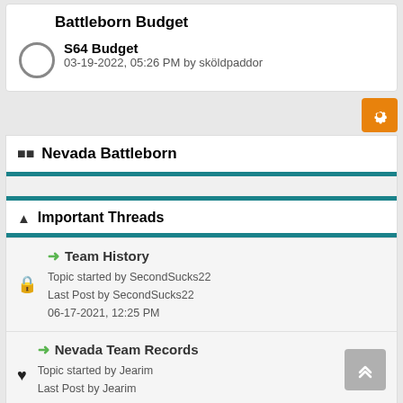Battleborn Budget
S64 Budget
03-19-2022, 05:26 PM by sköldpaddor
Nevada Battleborn
Important Threads
Team History
Topic started by SecondSucks22
Last Post by SecondSucks22
06-17-2021, 12:25 PM
Nevada Team Records
Topic started by Jearim
Last Post by Jearim